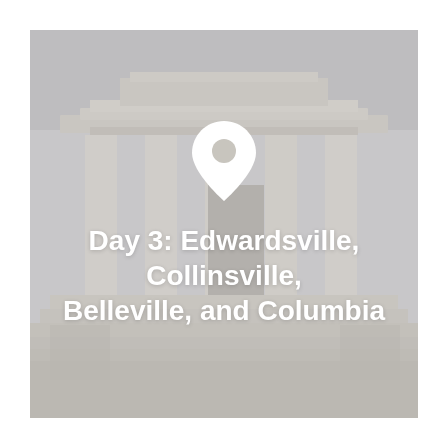[Figure (photo): Faded/muted photograph of a neoclassical building facade with large columns and wide steps, used as a background image. A white location pin icon is overlaid in the center, and white bold text reads 'Day 3: Edwardsville, Collinsville, Belleville, and Columbia'.]
Day 3: Edwardsville, Collinsville, Belleville, and Columbia